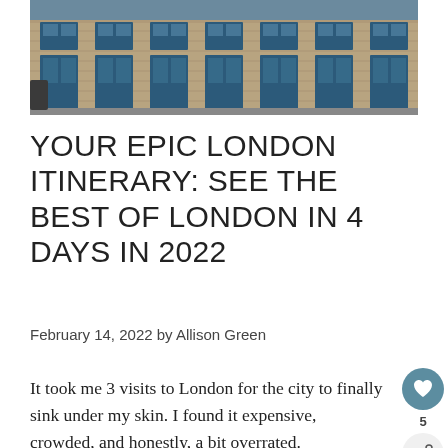[Figure (photo): Exterior of a brick building with multiple blue-painted doors and windows with blue shutters, street-level facade]
YOUR EPIC LONDON ITINERARY: SEE THE BEST OF LONDON IN 4 DAYS IN 2022
February 14, 2022 by Allison Green
It took me 3 visits to London for the city to finally sink under my skin. I found it expensive, crowded, and honestly, a bit overrated.